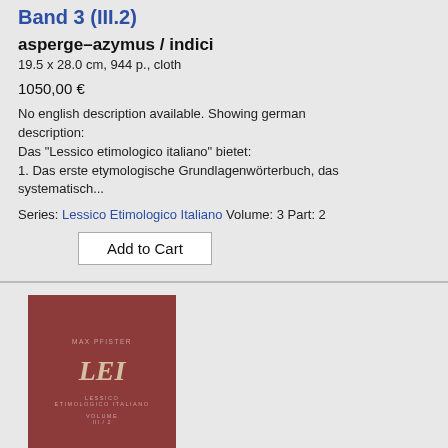Band 3 (III.2)
asperge–azymus / indici
19.5 x 28.0 cm, 944 p., cloth
1050,00 €
No english description available. Showing german description:
Das "Lessico etimologico italiano" bietet:
1. Das erste etymologische Grundlagenwörterbuch, das systematisch...
Series: Lessico Etimologico Italiano Volume: 3 Part: 2
Add to Cart
[Figure (photo): Book cover of LEI (Lessico Etimologico Italiano) Volume III/2 by Max Pfister, dark red/maroon cloth cover with gold lettering]